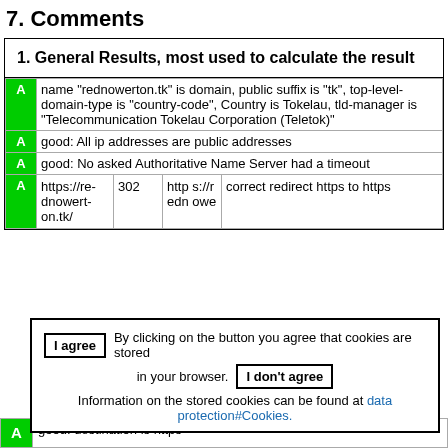7. Comments
|  | 1. General Results, most used to calculate the result |
| --- | --- |
| A | name "rednowerton.tk" is domain, public suffix is "tk", top-level-domain-type is "country-code", Country is Tokelau, tld-manager is "Telecommunication Tokelau Corporation (Teletok)" |
| A | good: All ip addresses are public addresses |
| A | good: No asked Authoritative Name Server had a timeout |
| A | https://rednowerton.tk/ | 302 | https://rednowerton.owe | correct redirect https to https |
I agree  By clicking on the button you agree that cookies are stored in your browser.  I don't agree  Information on the stored cookies can be found at data protection#Cookies.
A  good: destination is https